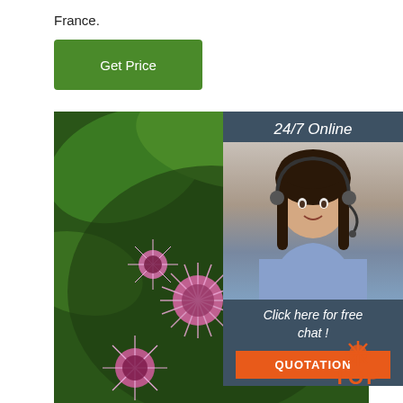France.
[Figure (other): Green button labeled 'Get Price']
[Figure (photo): Close-up photograph of pink fluffy flowers (possibly Ageratum) with green leaves in the background]
[Figure (infographic): Overlay box: '24/7 Online' header, photo of female customer service agent wearing headset, 'Click here for free chat!' text, 'QUOTATION' orange button]
[Figure (logo): TOP logo with orange spider/sun icon and the word TOP in orange]